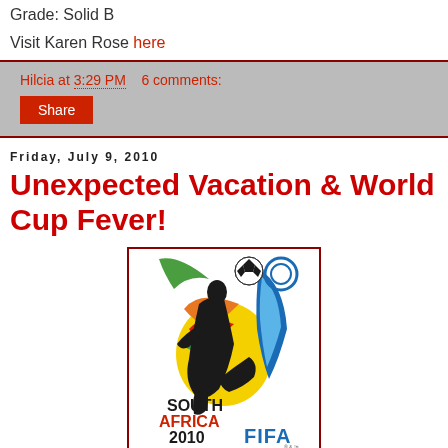Grade: Solid B
Visit Karen Rose here
Hilcia at 3:29 PM   6 comments:
Share
Friday, July 9, 2010
Unexpected Vacation & World Cup Fever!
[Figure (logo): FIFA World Cup South Africa 2010 official logo showing a soccer player kicking a ball with colorful swooshes in green, yellow, orange, red, and blue, with text SOUTH AFRICA 2010 FIFA]